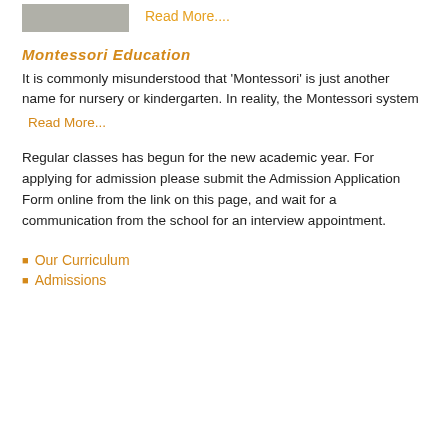[Figure (photo): Small thumbnail photo of classroom or school setting with decorative items on a table]
Read More....
Montessori Education
It is commonly misunderstood that 'Montessori' is just another name for nursery or kindergarten. In reality, the Montessori system
Read More...
Regular classes has begun for the new academic year. For applying for admission please submit the Admission Application Form online from the link on this page, and wait for a communication from the school for an interview appointment.
Our Curriculum
Admissions